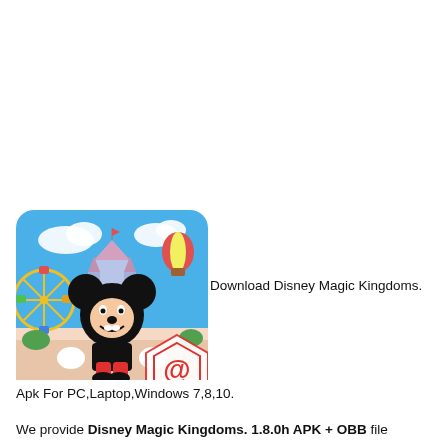[Figure (illustration): Disney Magic Kingdoms app icon showing Mickey Mouse standing in front of a colorful theme park with a castle, ferris wheel, and hot air balloons. An @ symbol logo watermark is in the bottom right corner of the image.]
Download Disney Magic Kingdoms.
Apk For PC,Laptop,Windows 7,8,10.
We provide Disney Magic Kingdoms. 1.8.0h APK + OBB file